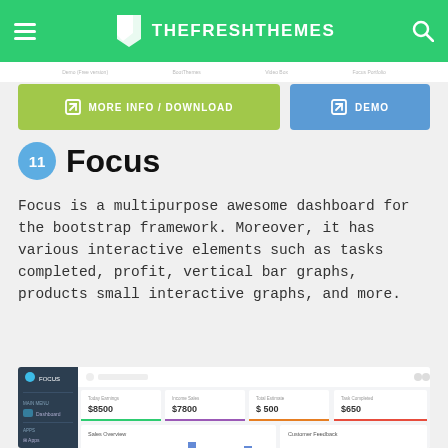TheFreshThemes
[Figure (screenshot): Buttons: MORE INFO / DOWNLOAD (green) and DEMO (blue)]
11  Focus
Focus is a multipurpose awesome dashboard for the bootstrap framework. Moreover, it has various interactive elements such as tasks completed, profit, vertical bar graphs, products small interactive graphs, and more.
[Figure (screenshot): Screenshot of the Focus dashboard showing a dark sidebar, stats cards (Today Earnings $8500, Income Sales $7800, Total Estimate $500, Task Completed $650), a Sales Overview bar chart, and Customer Feedback showing 385749 and a donut chart.]